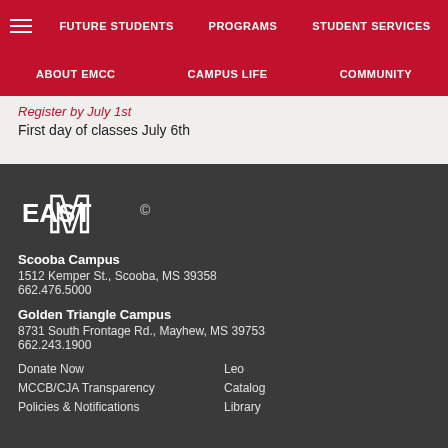FUTURE STUDENTS | PROGRAMS | STUDENT SERVICES
ABOUT EMCC | CAMPUS LIFE | COMMUNITY
Register by July 1st
First day of classes July 6th
[Figure (logo): East Mississippi Community College EASTM logo with copyright symbol]
Scooba Campus
1512 Kemper St., Scooba, MS 39358
662.476.5000
Golden Triangle Campus
8731 South Frontage Rd., Mayhew, MS 39753
662.243.1900
Donate Now
Leo
MCCB/CJA Transparency
Catalog
Policies & Notifications
Library